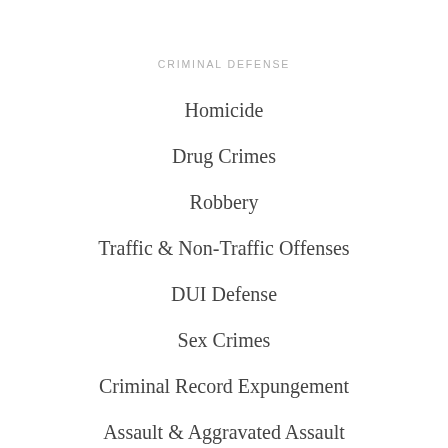CRIMINAL DEFENSE
Homicide
Drug Crimes
Robbery
Traffic & Non-Traffic Offenses
DUI Defense
Sex Crimes
Criminal Record Expungement
Assault & Aggravated Assault
Domestic Violence